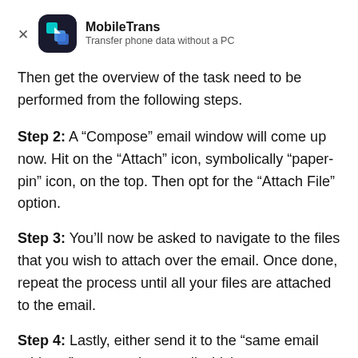[Figure (logo): MobileTrans app logo: dark rounded square icon with teal/blue arrow shapes, with app name 'MobileTrans' and subtitle 'Transfer phone data without a PC'. A close X button on the left.]
Then get the overview of the task need to be performed from the following steps.
Step 2: A “Compose” email window will come up now. Hit on the “Attach” icon, symbolically “paper-pin” icon, on the top. Then opt for the “Attach File” option.
Step 3: You’ll now be asked to navigate to the files that you wish to attach over the email. Once done, repeat the process until all your files are attached to the email.
Step 4: Lastly, either send it to the “same email address” or your other email which you can access over your Oppo